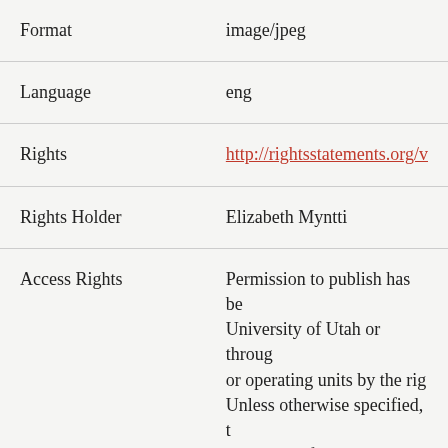| Field | Value |
| --- | --- |
| Format | image/jpeg |
| Language | eng |
| Rights | http://rightsstatements.org/v... |
| Rights Holder | Elizabeth Myntti |
| Access Rights | Permission to publish has be... University of Utah or throug... or operating units by the rig... Unless otherwise specified, t... copyright of this work. |
| Note | The views and opinions expr... the author, and do not reflec... official policy of the Universi... Willard Marriott Library. |